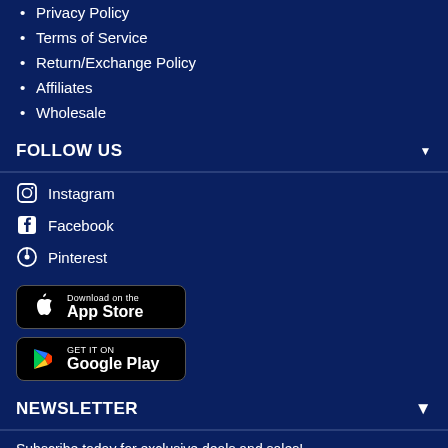Privacy Policy
Terms of Service
Return/Exchange Policy
Affiliates
Wholesale
FOLLOW US
Instagram
Facebook
Pinterest
[Figure (logo): Download on the App Store badge]
[Figure (logo): Get it on Google Play badge]
NEWSLETTER
Subscribe today for exclusive deals and sales!